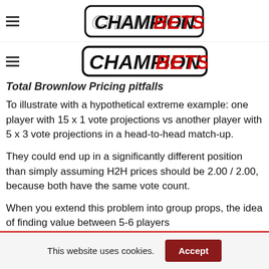CHAMPION BETS
Total Brownlow Pricing pitfalls
To illustrate with a hypothetical extreme example: one player with 15 x 1 vote projections vs another player with 5 x 3 vote projections in a head-to-head match-up.
They could end up in a significantly different position than simply assuming H2H prices should be 2.00 / 2.00, because both have the same vote count.
When you extend this problem into group props, the idea of finding value between 5-6 players...
This website uses cookies.